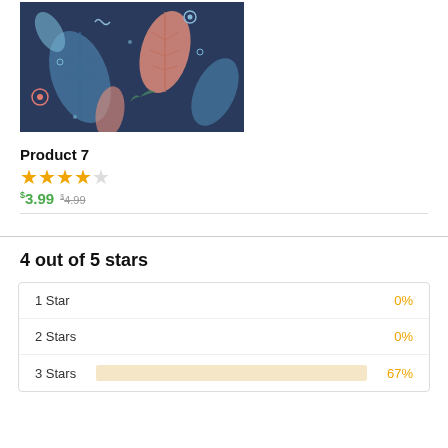[Figure (illustration): Decorative floral and leaf pattern on dark navy background with pink, blue, and white leaves and flowers]
Product 7
★★★★☆ (4 out of 5 stars rating display)
$3.99  $4.99 (strikethrough)
4 out of 5 stars
| Rating | Bar | Percentage |
| --- | --- | --- |
| 1 Star |  | 0% |
| 2 Stars |  | 0% |
| 3 Stars | bar | 67% |